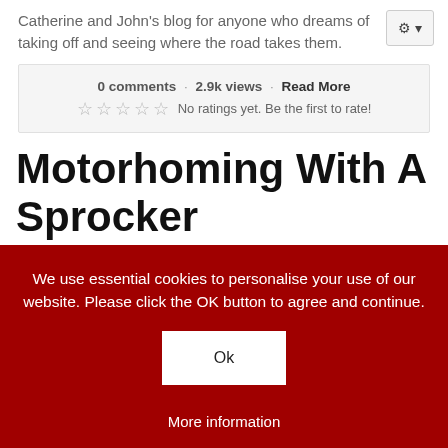Catherine and John's blog for anyone who dreams of taking off and seeing where the road takes them.
0 comments · 2.9k views · Read More
☆ ☆ ☆ ☆ ☆ No ratings yet. Be the first to rate!
Motorhoming With A Sprocker
We use essential cookies to personalise your use of our website. Please click the OK button to agree and continue.
Ok
More information